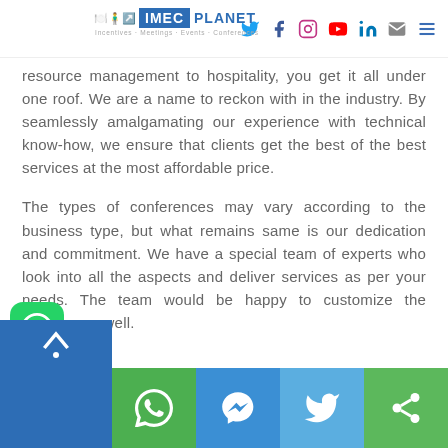[Figure (logo): IMEC Planet logo with social media navigation icons at top]
resource management to hospitality, you get it all under one roof. We are a name to reckon with in the industry. By seamlessly amalgamating our experience with technical know-how, we ensure that clients get the best of the best services at the most affordable price.
The types of conferences may vary according to the business type, but what remains same is our dedication and commitment. We have a special team of experts who look into all the aspects and deliver services as per your needs. The team would be happy to customize the services as well.
[Figure (infographic): Bottom toolbar with WhatsApp, Messenger, Twitter, and share icons in blue and green sections. WhatsApp floating button and scroll-up arrow button also visible.]